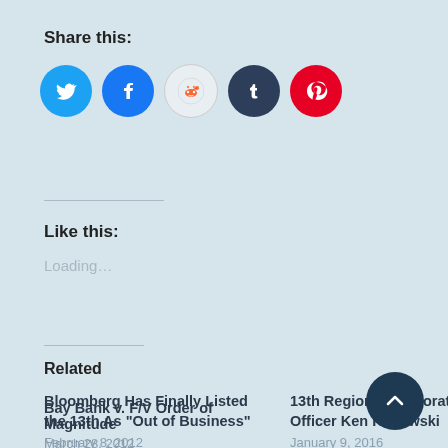Share this:
[Figure (infographic): Social share buttons: Twitter (blue), Facebook (blue), Reddit (light grey), Tumblr (dark navy), Pinterest (red)]
Like this:
Loading...
Related
Bloomberg Has Finally Listed the 13th As “Out of Business”
February 8, 2012
In "13th Regional Corporation"
13th Regional Corporation Officer Ken Krajewski
January 9, 2016
In "13th Regional Corporation"
Bay Bank v. F/V Order of Magnitude
March 28, 2012